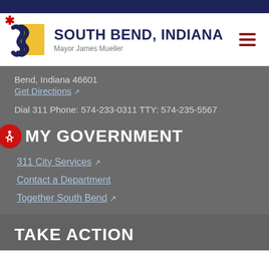SOUTH BEND, INDIANA — Mayor James Mueller
Bend, Indiana 46601
Get Directions ↗
Dial 311 Phone: 574-233-0311 TTY: 574-235-5567
MY GOVERNMENT
311 City Services ↗
Contact a Department
Together South Bend ↗
TAKE ACTION